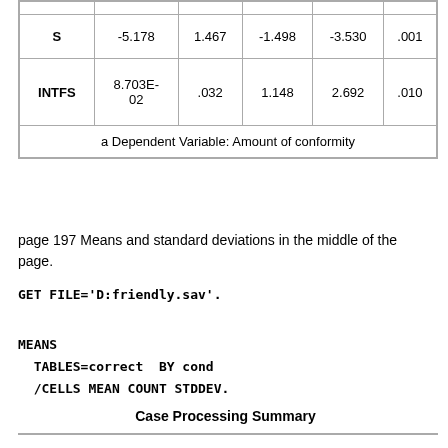|  |  |  |  |  |  |
| --- | --- | --- | --- | --- | --- |
| S | -5.178 | 1.467 | -1.498 | -3.530 | .001 |
| INTFS | 8.703E-02 | .032 | 1.148 | 2.692 | .010 |
a Dependent Variable: Amount of conformity
page 197 Means and standard deviations in the middle of the page.
GET FILE='D:friendly.sav'.
MEANS
  TABLES=correct  BY cond
  /CELLS MEAN COUNT STDDEV.
Case Processing Summary